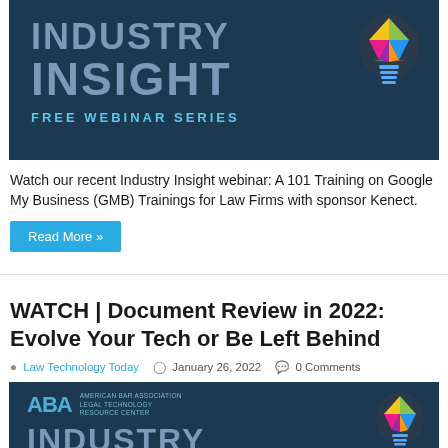[Figure (illustration): Industry Insight Free Webinar Series banner with dark teal background, large text INDUSTRY INSIGHT in grey-blue, FREE WEBINAR SERIES in cyan, and a colorful geometric lightbulb icon on the right]
Watch our recent Industry Insight webinar: A 101 Training on Google My Business (GMB) Trainings for Law Firms with sponsor Kenect.
Read More »
WATCH | Document Review in 2022: Evolve Your Tech or Be Left Behind
Law Technology Today   January 26, 2022   0 Comments
[Figure (illustration): ABA American Bar Association Legal Technology Resource Center Industry Insight banner with dark teal background, partial INDUSTRY text visible and colorful geometric lightbulb icon]